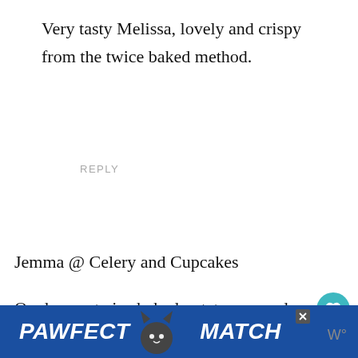Very tasty Melissa, lovely and crispy from the twice baked method.
REPLY
Jemma @ Celery and Cupcakes
Oooh your twice baked potatoes sound delicious! I totally agree, they are perfect for such a busy time of year :)
[Figure (other): PAWFECT MATCH advertisement banner with cat image and close button]